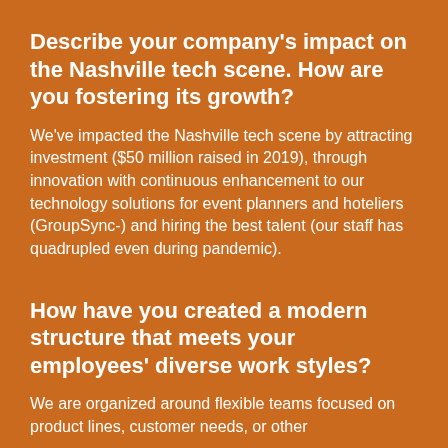Describe your company's impact on the Nashville tech scene. How are you fostering its growth?
We've impacted the Nashville tech scene by attracting investment ($50 million raised in 2019), through innovation with continuous enhancement to our technology solutions for event planners and hoteliers (GroupSync-) and hiring the best talent (our staff has quadrupled even during pandemic).
How have you created a modern structure that meets your employees' diverse work styles?
We are organized around flexible teams focused on product lines, customer needs, or other...